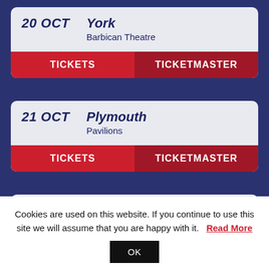20 OCT  York  Barbican Theatre
TICKETS  TICKETMASTER
21 OCT  Plymouth  Pavilions
TICKETS  TICKETMASTER
22 OCT  Brighton  Brighton Centre
Cookies are used on this website. If you continue to use this site we will assume that you are happy with it.  Read More
OK